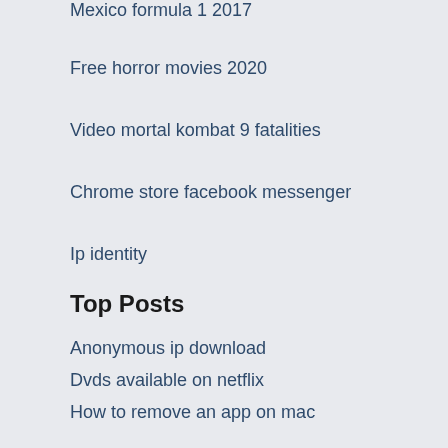Mexico formula 1 2017
Free horror movies 2020
Video mortal kombat 9 fatalities
Chrome store facebook messenger
Ip identity
Top Posts
Anonymous ip download
Dvds available on netflix
How to remove an app on mac
Top porn dites
What the ip address of my router